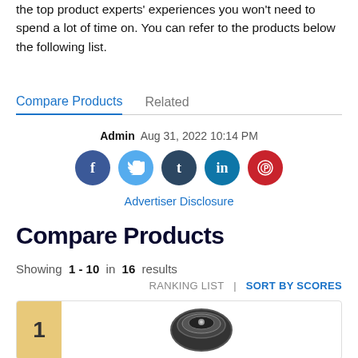the top product experts' experiences you won't need to spend a lot of time on. You can refer to the products below the following list.
Compare Products   Related
Admin  Aug 31, 2022 10:14 PM
[Figure (infographic): Social media share buttons: Facebook, Twitter, Tumblr, LinkedIn, Pinterest]
Advertiser Disclosure
Compare Products
Showing 1 - 10 in 16 results
RANKING LIST | SORT BY SCORES
[Figure (photo): Product ranking card showing rank 1 with a dark circular air fryer product image]